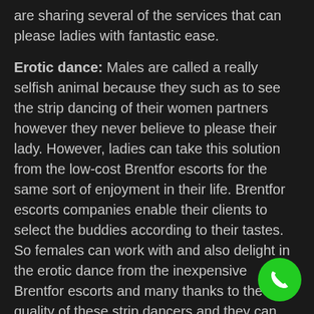are sharing several of the services that can please ladies with fantastic ease.
Erotic dance: Males are called a really selfish animal because they such as to see the strip dancing of their women partners however they never believe to please their lady. However, ladies can take this solution from the low-cost Brentfor escorts for the same sort of enjoyment in their life. Brentfor escorts companies enable their clients to select the buddies according to their tastes. So females can work with and also delight in the erotic dance from the inexpensive Brentfor escorts and many thanks to the top quality of these strip dancers and they can have nice fun quickly.
Massage therapy: Together with striptease Brentfor escorts are also well certified to offer the sensual as well as sensual massage therapy to their clients. solutions provided in affordable price gives females a